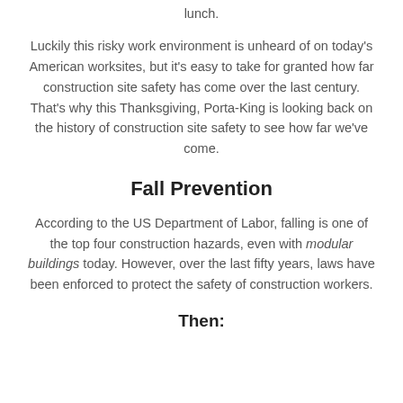lunch.
Luckily this risky work environment is unheard of on today's American worksites, but it's easy to take for granted how far construction site safety has come over the last century. That's why this Thanksgiving, Porta-King is looking back on the history of construction site safety to see how far we've come.
Fall Prevention
According to the US Department of Labor, falling is one of the top four construction hazards, even with modular buildings today. However, over the last fifty years, laws have been enforced to protect the safety of construction workers.
Then: